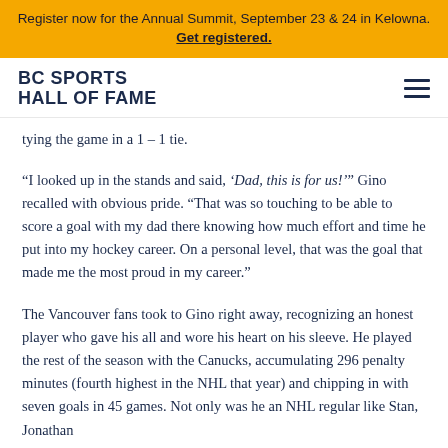Register now for the Annual Summit, September 23 & 24 in Kelowna. Get registered.
[Figure (logo): BC Sports Hall of Fame logo with hamburger menu icon]
tying the game in a 1-1 tie.
“I looked up in the stands and said, ‘Dad, this is for us!’” Gino recalled with obvious pride. “That was so touching to be able to score a goal with my dad there knowing how much effort and time he put into my hockey career. On a personal level, that was the goal that made me the most proud in my career.”
The Vancouver fans took to Gino right away, recognizing an honest player who gave his all and wore his heart on his sleeve. He played the rest of the season with the Canucks, accumulating 296 penalty minutes (fourth highest in the NHL that year) and chipping in with seven goals in 45 games. Not only was he an NHL regular like Stan, Jonathan